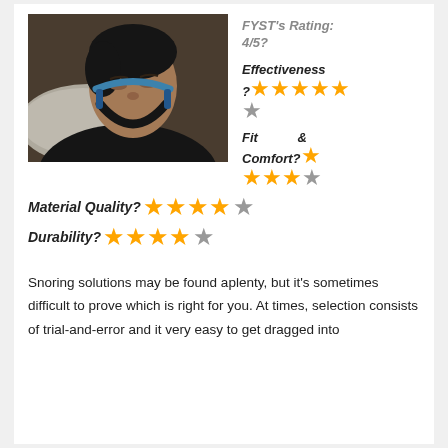[Figure (photo): Man sleeping on a pillow wearing a black and blue chin strap anti-snoring device]
FYST's Rating: 4/5?
Effectiveness ? ★★★★★ ★
Fit & Comfort? ★★★★★
Material Quality? ★★★★★
Durability? ★★★★★
Snoring solutions may be found aplenty, but it's sometimes difficult to prove which is right for you. At times, selection consists of trial-and-error and it very easy to get dragged into